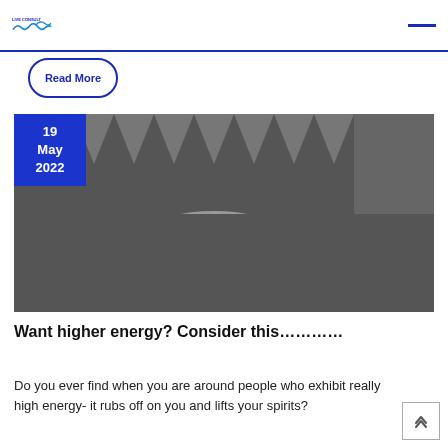LIVE CONSULT
Read More
[Figure (illustration): Date badge showing 19 May 2022 in blue square, overlaid on a dark gray illustration of a shark mouth with jagged teeth and a hand/wave shape at the bottom]
Want higher energy? Consider this…………
Do you ever find when you are around people who exhibit really high energy- it rubs off on you and lifts your spirits?